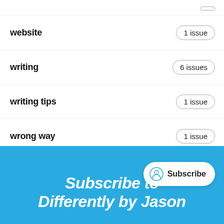website — 1 issue
writing — 6 issues
writing tips — 1 issue
wrong way — 1 issue
youtube — 1 issue
Subscribe to Differently by Jason